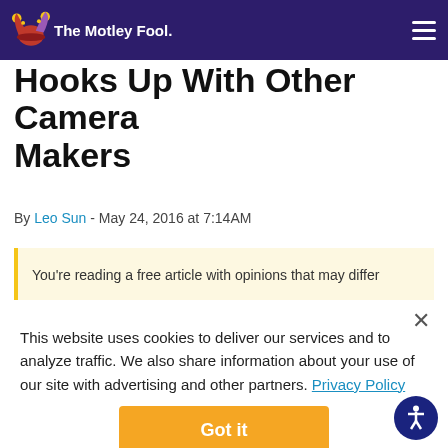The Motley Fool
Hooks Up With Other Camera Makers
By Leo Sun - May 24, 2016 at 7:14AM
You’re reading a free article with opinions that may differ
This website uses cookies to deliver our services and to analyze traffic. We also share information about your use of our site with advertising and other partners. Privacy Policy
Got it
Cookie Settings